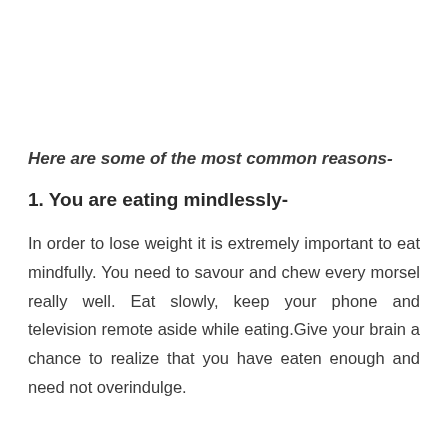Here are some of the most common reasons-
1. You are eating mindlessly-
In order to lose weight it is extremely important to eat mindfully. You need to savour and chew every morsel really well. Eat slowly, keep your phone and television remote aside while eating.Give your brain a chance to realize that you have eaten enough and need not overindulge.